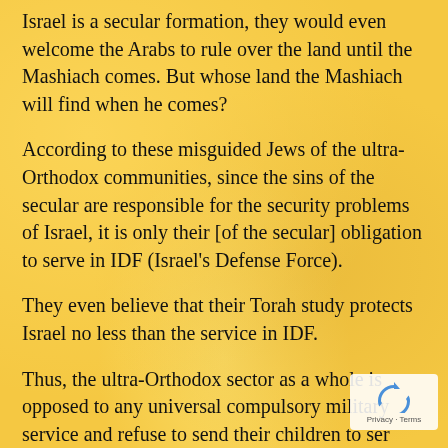Israel is a secular formation, they would even welcome the Arabs to rule over the land until the Mashiach comes. But whose land the Mashiach will find when he comes?
According to these misguided Jews of the ultra-Orthodox communities, since the sins of the secular are responsible for the security problems of Israel, it is only their [of the secular] obligation to serve in IDF (Israel's Defense Force).
They even believe that their Torah study protects Israel no less than the service in IDF.
Thus, the ultra-Orthodox sector as a whole is opposed to any universal compulsory military service and refuse to send their children to serve in IDF. The hypocrisy of this stance is that while they sleep safely in their beds, the children of the
[Figure (other): reCAPTCHA widget overlay in bottom-right corner showing recycling arrows icon and 'Privacy - Terms' text]